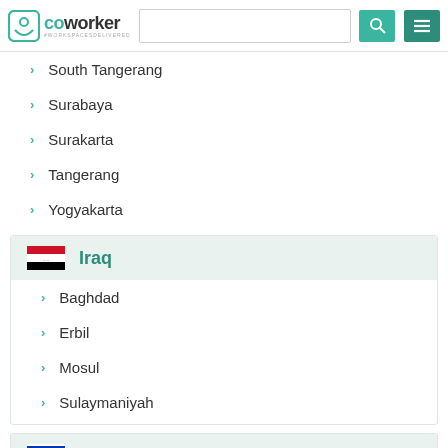Coworker - #WORKSPACESDELIVERED
South Tangerang
Surabaya
Surakarta
Tangerang
Yogyakarta
Iraq
Baghdad
Erbil
Mosul
Sulaymaniyah
Israel